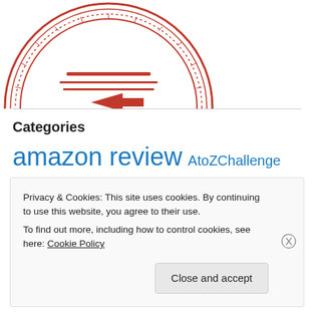[Figure (logo): Circular badge/seal with orange/rust color, text reading 'WRITING 201' around the bottom arc, partially cropped showing bottom half]
Categories
amazon review  AtoZChallenge  author spotlight
Privacy & Cookies: This site uses cookies. By continuing to use this website, you agree to their use.
To find out more, including how to control cookies, see here: Cookie Policy
Close and accept